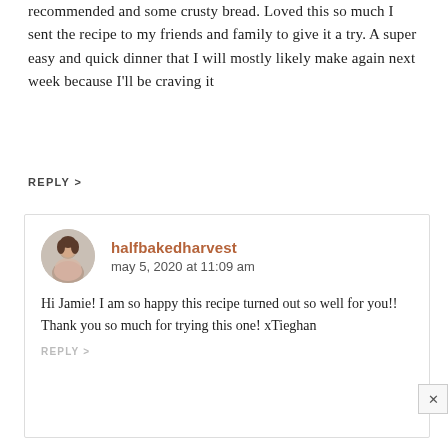recommended and some crusty bread. Loved this so much I sent the recipe to my friends and family to give it a try. A super easy and quick dinner that I will mostly likely make again next week because I'll be craving it
REPLY >
halfbakedharvest
may 5, 2020 at 11:09 am
Hi Jamie! I am so happy this recipe turned out so well for you!! Thank you so much for trying this one! xTieghan
REPLY >